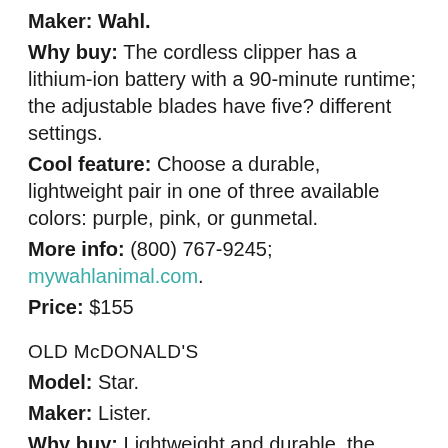Maker: Wahl.
Why buy: The cordless clipper has a lithium-ion battery with a 90-minute runtime; the adjustable blades have five? different settings.
Cool feature: Choose a durable, lightweight pair in one of three available colors: purple, pink, or gunmetal.
More info: (800) 767-9245; mywahlanimal.com.
Price: $155
OLD McDONALD'S
Model: Star.
Maker: Lister.
Why buy: Lightweight and durable, the corded clipper is designed for full-body clipping; the magnet motor provides consistent speed and low noise.